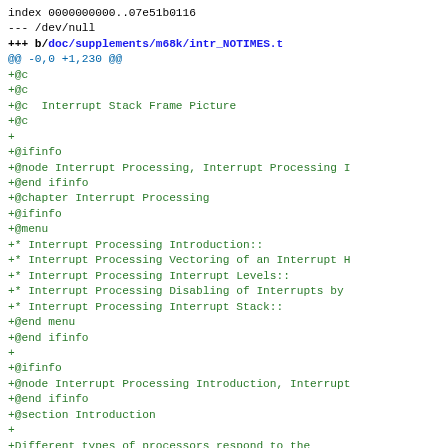index 0000000000..07e51b0116
--- /dev/null
+++ b/doc/supplements/m68k/intr_NOTIMES.t
@@ -0,0 +1,230 @@
+@c
+@c
+@c  Interrupt Stack Frame Picture
+@c
+
+@ifinfo
+@node Interrupt Processing, Interrupt Processing I
+@end ifinfo
+@chapter Interrupt Processing
+@ifinfo
+@menu
+* Interrupt Processing Introduction::
+* Interrupt Processing Vectoring of an Interrupt H
+* Interrupt Processing Interrupt Levels::
+* Interrupt Processing Disabling of Interrupts by
+* Interrupt Processing Interrupt Stack::
+@end menu
+@end ifinfo
+
+@ifinfo
+@node Interrupt Processing Introduction, Interrupt
+@end ifinfo
+@section Introduction
+
+Different types of processors respond to the
+occurrence of an interrupt in its own unique fashi